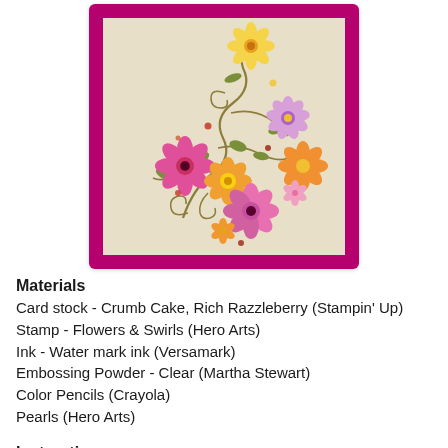[Figure (photo): Handmade greeting card with floral stamp design on cream/tan card stock, mounted on rich razzleberry (magenta/pink) card base. Features stamped and colored flowers including pink, orange, and purple blooms with swirling vines and leaves, decorated with pearl embellishments.]
Materials
Card stock - Crumb Cake, Rich Razzleberry (Stampin' Up)
Stamp - Flowers & Swirls (Hero Arts)
Ink - Water mark ink (Versamark)
Embossing Powder - Clear (Martha Stewart)
Color Pencils (Crayola)
Pearls (Hero Arts)
Instructions
1. Create card from card stock - finished size is 5 x 5